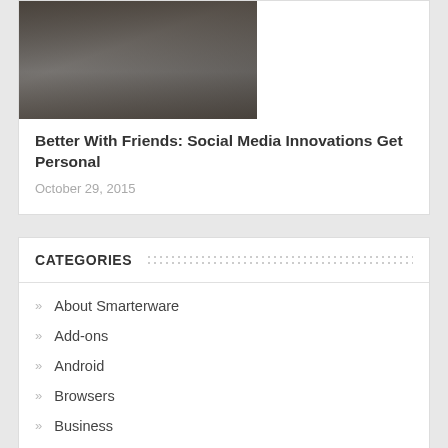[Figure (photo): Two people looking at smartphones, social media theme]
Better With Friends: Social Media Innovations Get Personal
October 29, 2015
CATEGORIES
About Smarterware
Add-ons
Android
Browsers
Business
Bylines
Cloud Computing